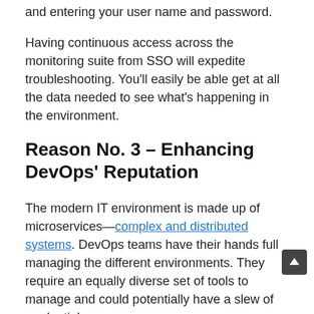and entering your user name and password.
Having continuous access across the monitoring suite from SSO will expedite troubleshooting. You'll easily be able get at all the data needed to see what's happening in the environment.
Reason No. 3 – Enhancing DevOps' Reputation
The modern IT environment is made up of microservices—complex and distributed systems. DevOps teams have their hands full managing the different environments. They require an equally diverse set of tools to manage and could potentially have a slew of credentials.
SSO removes that as a potential obstacle and gets to the troubleshooting faster. The faster the resolution, the more value DevOps can bring to the business, moving on to more